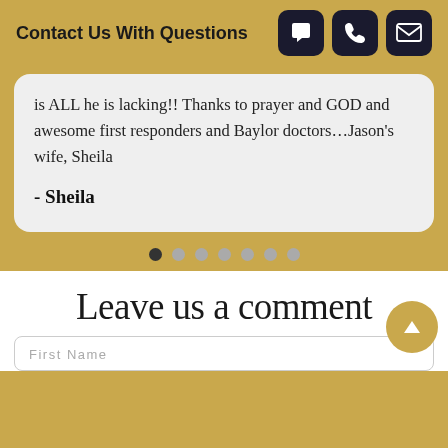Contact Us With Questions
is ALL he is lacking!! Thanks to prayer and GOD and awesome first responders and Baylor doctors...Jason's wife, Sheila
- Sheila
[Figure (other): Carousel navigation dots — 7 dots with first dot filled/dark indicating current slide]
Leave us a comment
First Name